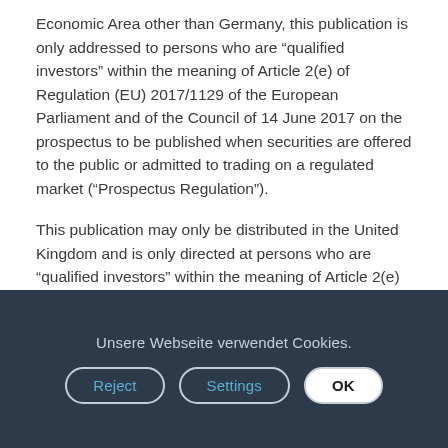Economic Area other than Germany, this publication is only addressed to persons who are “qualified investors” within the meaning of Article 2(e) of Regulation (EU) 2017/1129 of the European Parliament and of the Council of 14 June 2017 on the prospectus to be published when securities are offered to the public or admitted to trading on a regulated market (“Prospectus Regulation”).
This publication may only be distributed in the United Kingdom and is only directed at persons who are “qualified investors” within the meaning of Article 2(e) of the Prospectus Regulation as that Regulation forms part of
Unsere Webseite verwendet Cookies.